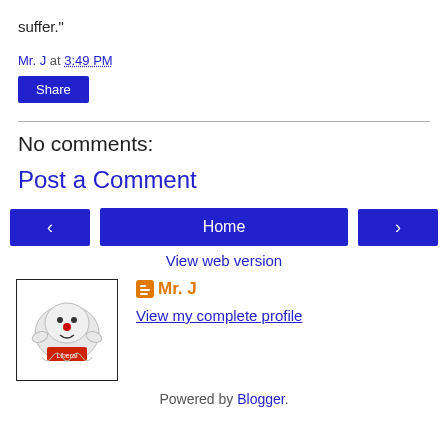suffer."
Mr. J at 3:49 PM
Share
No comments:
Post a Comment
< Home > View web version
Mr. J
View my complete profile
Powered by Blogger.